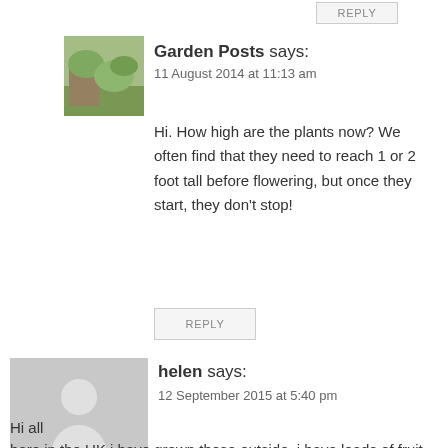[Figure (other): Reply button at top]
[Figure (photo): Garden Posts avatar - garden/plant themed image]
Garden Posts says:
11 August 2014 at 11:13 am
Hi. How high are the plants now? We often find that they need to reach 1 or 2 foot tall before flowering, but once they start, they don't stop!
REPLY
[Figure (illustration): Grey silhouette/placeholder avatar for helen]
helen says:
12 September 2015 at 5:40 pm
Hi all

here in the UK i have grown these outside, i have loads of fruit but only one that has part swelled. I have nipped out the ends to encouraged more fruit and nipped off some of